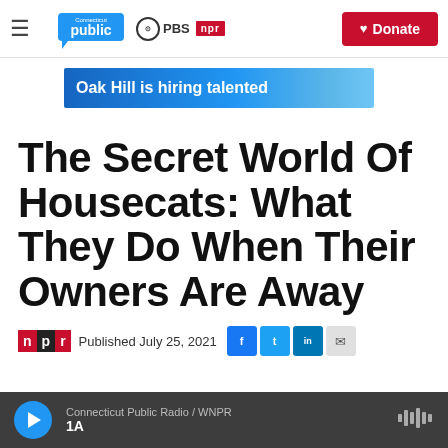Connecticut Public | PBS | NPR — Donate
[Figure (screenshot): Advertisement banner: Oak Hill is hiring talented]
The Secret World Of Housecats: What They Do When Their Owners Are Away
Published July 25, 2021
Connecticut Public Radio / WNPR — 1A